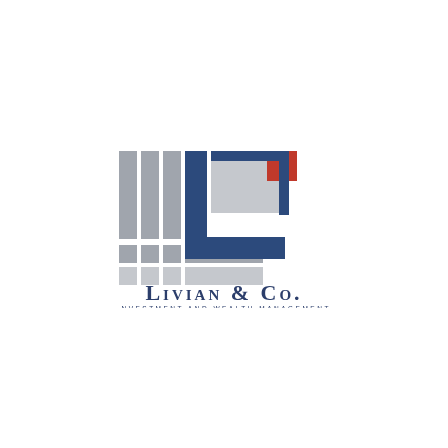[Figure (logo): Livian & Co. Investment and Wealth Management logo. Features a stylized 'LC' monogram made of gray rectangular blocks and a navy blue L-shape bracket, with a red square accent in the upper right. Below the graphic is the text 'LIVIAN & Co.' in large navy serif/spaced letters, and 'INVESTMENT AND WEALTH MANAGEMENT' in smaller spaced letters beneath.]